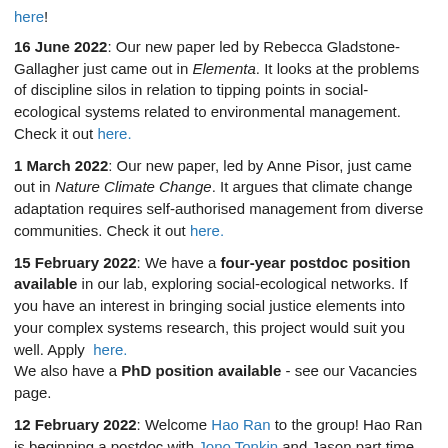here!
16 June 2022: Our new paper led by Rebecca Gladstone-Gallagher just came out in Elementa. It looks at the problems of discipline silos in relation to tipping points in social-ecological systems related to environmental management. Check it out here.
1 March 2022: Our new paper, led by Anne Pisor, just came out in Nature Climate Change. It argues that climate change adaptation requires self-authorised management from diverse communities. Check it out here.
15 February 2022: We have a four-year postdoc position available in our lab, exploring social-ecological networks. If you have an interest in bringing social justice elements into your complex systems research, this project would suit you well. Apply here. We also have a PhD position available - see our Vacancies page.
12 February 2022: Welcome Hao Ran to the group! Hao Ran is beginning a postdoc with Jono Tonkin and Jason part time, while working on his own Marsden-funded project.
31 January 2022: Our paper led by Johanna Yletyinen and Phil Lyver is now available. It uses a network approach to demonstrate the deep